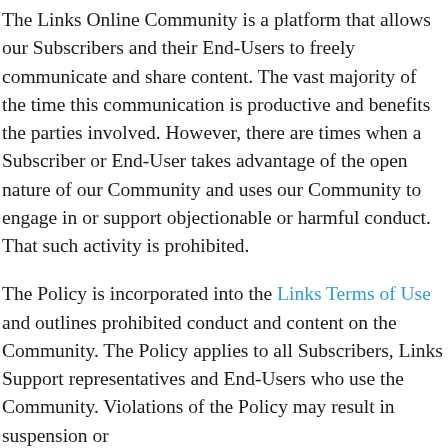The Links Online Community is a platform that allows our Subscribers and their End-Users to freely communicate and share content. The vast majority of the time this communication is productive and benefits the parties involved. However, there are times when a Subscriber or End-User takes advantage of the open nature of our Community and uses our Community to engage in or support objectionable or harmful conduct. That such activity is prohibited.
The Policy is incorporated into the Links Terms of Use and outlines prohibited conduct and content on the Community. The Policy applies to all Subscribers, Links Support representatives and End-Users who use the Community. Violations of the Policy may result in suspension or